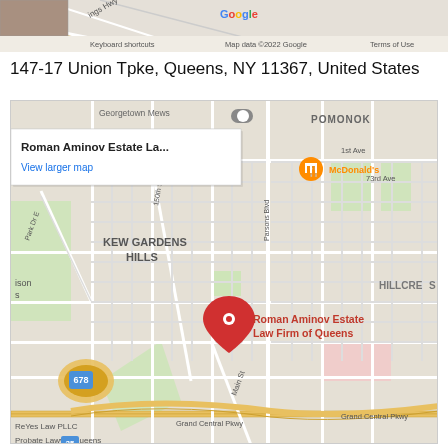[Figure (map): Top strip of a Google Map showing roads and map footer text: 'Kings Hwy', Google logo, 'Keyboard shortcuts', 'Map data ©2022 Google', 'Terms of Use']
147-17 Union Tpke, Queens, NY 11367, United States
[Figure (map): Google Map centered on Kew Gardens Hills, Queens, NY showing Roman Aminov Estate Law Firm of Queens location pin on Union Tpke. Popup shows 'Roman Aminov Estate La...' and 'View larger map'. Nearby labels: Georgetown Mews, POMONOK, McDonald's, 73rd Ave, 1st Ave, Park Dr E, 150th St, Parsons Blvd, HILLCREST, 678, Main St, Grand Central Pkwy, ReYes Law PLLC, Probate Lawyer Queens, 25.]